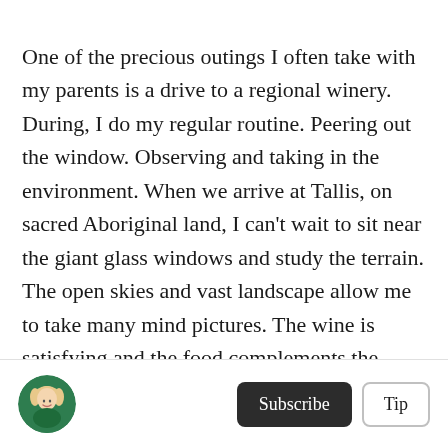One of the precious outings I often take with my parents is a drive to a regional winery. During, I do my regular routine. Peering out the window. Observing and taking in the environment. When we arrive at Tallis, on sacred Aboriginal land, I can't wait to sit near the giant glass windows and study the terrain. The open skies and vast landscape allow me to take many mind pictures. The wine is satisfying and the food complements the fragrant liquid. I am free after many weeks locked away. I have the space to think and stretch everything, including my smile.
[Figure (photo): Circular avatar photo of a woman with blonde hair wearing a green top]